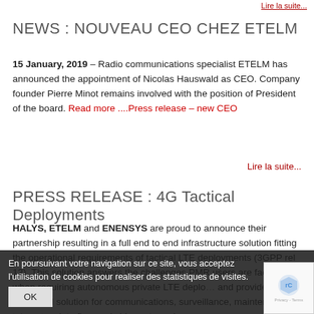Lire la suite...
NEWS : NOUVEAU CEO CHEZ ETELM
15 January, 2019 – Radio communications specialist ETELM has announced the appointment of Nicolas Hauswald as CEO. Company founder Pierre Minot remains involved with the position of President of the board. Read more ....Press release – new CEO
Lire la suite...
PRESS RELEASE : 4G Tactical Deployments
HALYS, ETELM and ENENSYS are proud to announce their partnership resulting in a full end to end infrastructure solution fitting the operational requirements of tactical LTE deployments (3GPP rel 13). This solution answers the challenges PMR users are facing when requiring autonomous private LTE deployments and provides an advanced solution for communications, surveillance, maintenance, telemetry, data flow and video streaming.
En poursuivant votre navigation sur ce site, vous acceptez l'utilisation de cookies pour realiser des statistiques de visites.